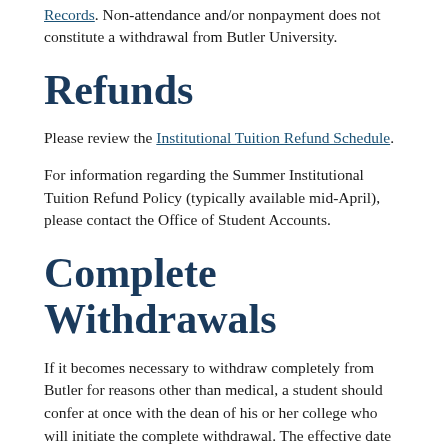Records. Non-attendance and/or nonpayment does not constitute a withdrawal from Butler University.
Refunds
Please review the Institutional Tuition Refund Schedule.
For information regarding the Summer Institutional Tuition Refund Policy (typically available mid-April), please contact the Office of Student Accounts.
Complete Withdrawals
If it becomes necessary to withdraw completely from Butler for reasons other than medical, a student should confer at once with the dean of his or her college who will initiate the complete withdrawal. The effective date of the withdrawal is the date the form is received by the